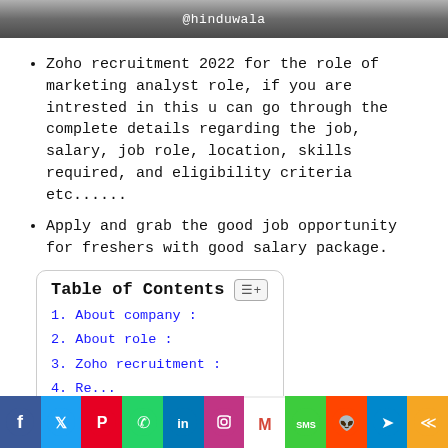@hinduwala
Zoho recruitment 2022 for the role of marketing analyst role, if you are intrested in this u can go through the complete details regarding the job, salary, job role, location, skills required, and eligibility criteria etc......
Apply and grab the good job opportunity for freshers with good salary package.
| Table of Contents |
| --- |
| 1. About company : |
| 2. About role : |
| 3. Zoho recruitment : |
| 4. ... |
[Figure (infographic): Social media share buttons bar: Facebook, Twitter, Pinterest, WhatsApp, LinkedIn, Instagram, Gmail, SMS, Reddit, Telegram, Share]